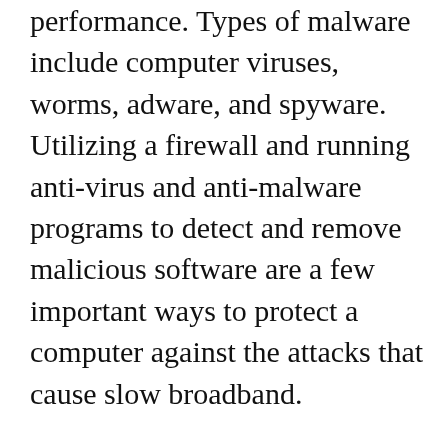performance. Types of malware include computer viruses, worms, adware, and spyware. Utilizing a firewall and running anti-virus and anti-malware programs to detect and remove malicious software are a few important ways to protect a computer against the attacks that cause slow broadband.